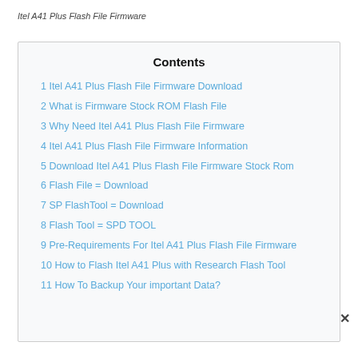Itel A41 Plus Flash File Firmware
Contents
1 Itel A41 Plus Flash File Firmware Download
2 What is Firmware Stock ROM Flash File
3 Why Need Itel A41 Plus Flash File Firmware
4 Itel A41 Plus Flash File Firmware Information
5 Download Itel A41 Plus Flash File Firmware Stock Rom
6 Flash File = Download
7 SP FlashTool  = Download
8 Flash Tool =  SPD TOOL
9 Pre-Requirements For Itel A41 Plus Flash File Firmware
10 How to Flash Itel A41 Plus with Research Flash Tool
11 How To Backup Your important Data?